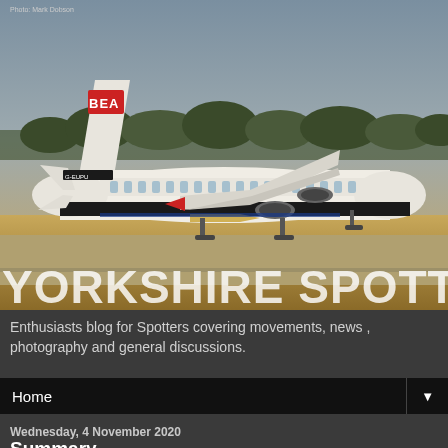[Figure (photo): British European Airways (BEA) retro-liveried aircraft (registration G-EUPU or similar) taxiing on runway, with trees visible in background. Aircraft has red BEA logo on tail. Large 'YORKSHIRE SPOTTERS' text overlaid at bottom. Photo credit: Mark Dobson.]
Enthusiasts blog for Spotters covering movements, news , photography and general discussions.
Home
Wednesday, 4 November 2020
Summary